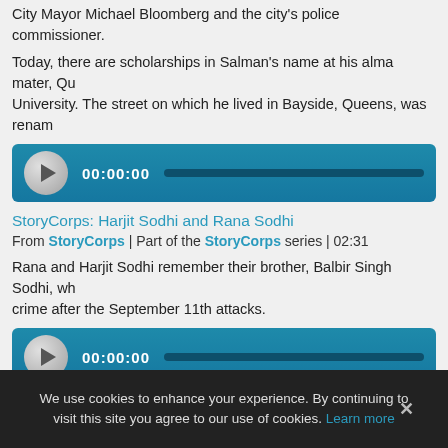City Mayor Michael Bloomberg and the city’s police commissioner.
Today, there are scholarships in Salman’s name at his alma mater, Qu… University. The street on which he lived in Bayside, Queens, was renam…
[Figure (other): Audio player with play button, timestamp 00:00:00 and progress bar]
StoryCorps: Harjit Sodhi and Rana Sodhi
From StoryCorps | Part of the StoryCorps series | 02:31
Rana and Harjit Sodhi remember their brother, Balbir Singh Sodhi, wh… crime after the September 11th attacks.
[Figure (other): Audio player with play button, timestamp 00:00:00 and progress bar]
StoryCorps: Ginger Petrocelli and Albert Petrocelli Sr.
From StoryCorps | 02:27
Retired New York City Fire Chief Albert Petrocelli died from COVID-19…
We use cookies to enhance your experience. By continuing to visit this site you agree to our use of cookies. Learn more